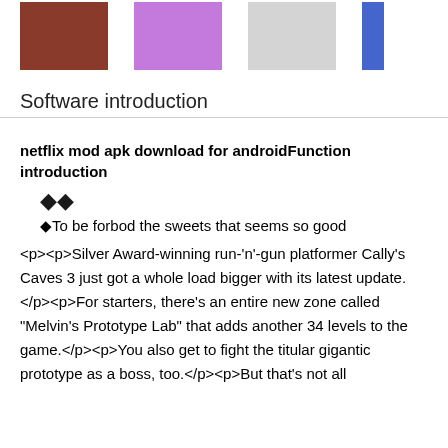[Figure (photo): Row of three app icons/screenshots: a green frog character, a colorful platformer game character, and a woman's face. A fourth partially visible blue element at the right edge.]
Software introduction
netflix mod apk download for androidFunction introduction
◆◆
◆To be forbod the sweets that seems so good
<p><p>Silver Award-winning run-'n'-gun platformer Cally's Caves 3 just got a whole load bigger with its latest update.</p><p>For starters, there's an entire new zone called "Melvin's Prototype Lab" that adds another 34 levels to the game.</p><p>You also get to fight the titular gigantic prototype as a boss, too.</p><p>But that's not all